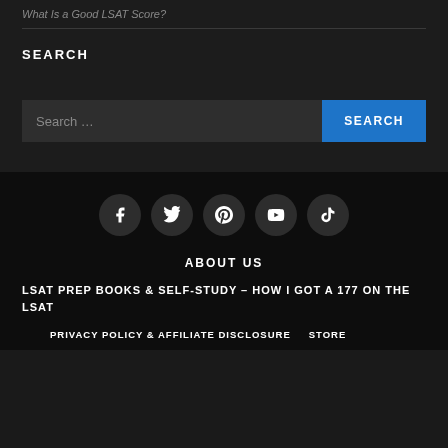What Is a Good LSAT Score?
SEARCH
Search ...
SEARCH
[Figure (infographic): Row of five social media icon circles: Facebook, Twitter, Pinterest, YouTube, TikTok]
ABOUT US
LSAT PREP BOOKS & SELF-STUDY – HOW I GOT A 177 ON THE LSAT
PRIVACY POLICY & AFFILIATE DISCLOSURE   STORE